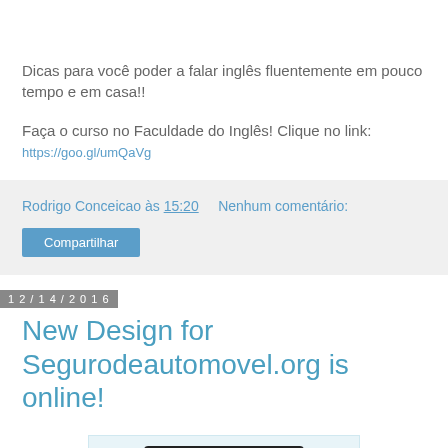Dicas para você poder a falar inglês fluentemente em pouco tempo e em casa!!
Faça o curso no Faculdade do Inglês! Clique no link: https://goo.gl/umQaVg
Rodrigo Conceicao às 15:20    Nenhum comentário:
Compartilhar
12/14/2016
New Design for Segurodeautomovel.org is online!
[Figure (screenshot): Screenshot of a website displayed on a laptop/tablet device]